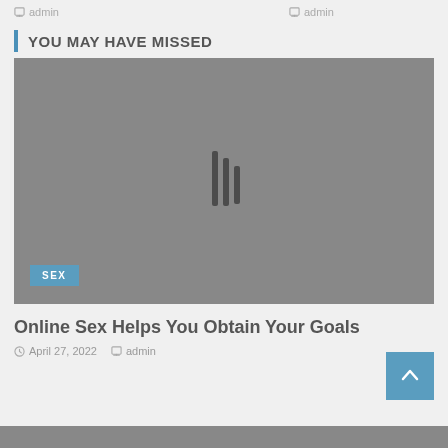admin   admin
YOU MAY HAVE MISSED
[Figure (photo): Gray placeholder image with a vertical bar/loading icon in the center; 'SEX' category badge in lower left corner]
Online Sex Helps You Obtain Your Goals
April 27, 2022   admin